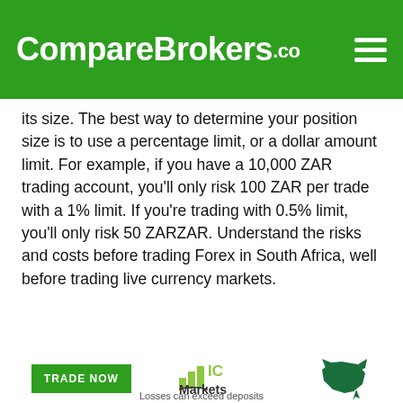CompareBrokers.co
its size. The best way to determine your position size is to use a percentage limit, or a dollar amount limit. For example, if you have a 10,000 ZAR trading account, you'll only risk 100 ZAR per trade with a 1% limit. If you're trading with 0.5% limit, you'll only risk 50 ZARZAR. Understand the risks and costs before trading Forex in South Africa, well before trading live currency markets.
Related South African
[Figure (logo): IC Markets logo with bar chart icon and TRADE NOW button and bull logo, with text 'Losses can exceed deposits']